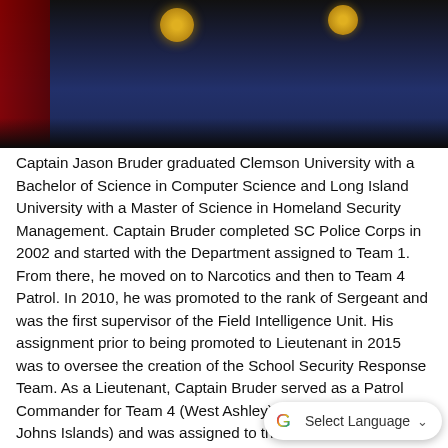[Figure (photo): Partial photo showing two police officers in dark navy uniforms with gold badges, a red flag visible on the left side. The image is cropped showing only the upper torso and partial heads.]
Captain Jason Bruder graduated Clemson University with a Bachelor of Science in Computer Science and Long Island University with a Master of Science in Homeland Security Management. Captain Bruder completed SC Police Corps in 2002 and started with the Department assigned to Team 1. From there, he moved on to Narcotics and then to Team 4 Patrol. In 2010, he was promoted to the rank of Sergeant and was the first supervisor of the Field Intelligence Unit. His assignment prior to being promoted to Lieutenant in 2015 was to oversee the creation of the School Security Response Team. As a Lieutenant, Captain Bruder served as a Patrol Commander for Team 4 (West Ashley) and Team 3 (James & Johns Islands) and was assigned to the Office of the Chief of Police as the Chief of Staff. Captain Bruder currently commands the Special Operations Division. In addition to his primary duties, he is also the Commander of the Civil Disturbance Unit, a member of the Police Forum, American Society of Evidence Based Policing, and a